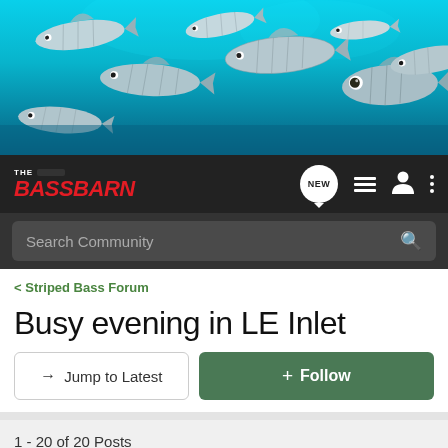[Figure (photo): School of striped bass fish swimming underwater with teal/blue water background, viewed from below looking up]
THE BASS BARN
Search Community
< Striped Bass Forum
Busy evening in LE Inlet
→ Jump to Latest
+ Follow
1 - 20 of 20 Posts
MyMistress · Registered
Joined Jul 2, 2005 · 885 Posts